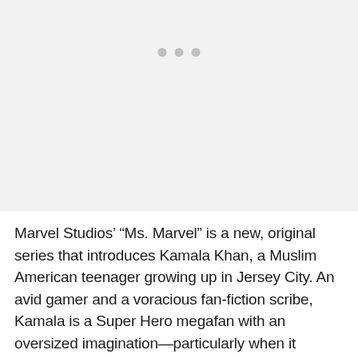[Figure (photo): Light gray placeholder image area with three gray dots visible near the top center, suggesting a loading or placeholder state for an image.]
Marvel Studios' “Ms. Marvel” is a new, original series that introduces Kamala Khan, a Muslim American teenager growing up in Jersey City. An avid gamer and a voracious fan-fiction scribe, Kamala is a Super Hero megafan with an oversized imagination—particularly when it comes to Captain Marvel. Yet Kamala feels like she doesn’t fit in at school and sometimes even at home—that is, until she gets superpowers like the heroes she’s always looked up to. Life